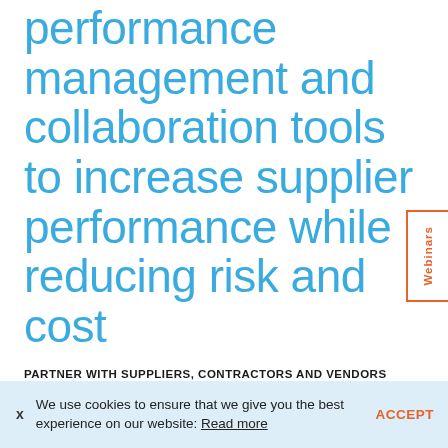performance management and collaboration tools to increase supplier performance while reducing risk and cost
PARTNER WITH SUPPLIERS, CONTRACTORS AND VENDORS TO IMPROVE QUALITY AND SAFETY
REQUEST A DEMO
Webinars
We use cookies to ensure that we give you the best experience on our website: Read more   ACCEPT